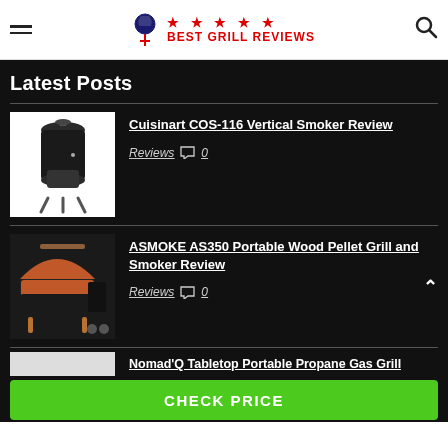Best Grill Reviews
Latest Posts
[Figure (photo): Cuisinart COS-116 vertical bullet smoker, black, on white background]
Cuisinart COS-116 Vertical Smoker Review
Reviews  0
[Figure (photo): ASMOKE AS350 Portable Wood Pellet Grill and Smoker, open lid showing orange interior, black exterior with copper legs]
ASMOKE AS350 Portable Wood Pellet Grill and Smoker Review
Reviews  0
Nomad'Q Tabletop Portable Propane Gas Grill
CHECK PRICE